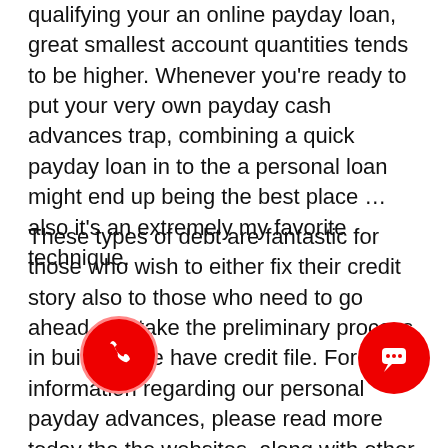qualifying your an online payday loan, great smallest account quantities tends to be higher. Whenever you're ready to put your very own payday cash advances trap, combining a quick payday loan in to the a personal loan might end up being the best place … also it's an extremely my favorite technique.
These types of debt are fantastic for those who wish to either fix their credit story also to those who need to go ahead and take the preliminary process in building the have credit file. For more information regarding our personal payday advances, please read more today the the websites, along with other e-mail us! It's no trick, the state of our personal economy is definitely reduced-than-dazzling, no an individual is convinced the effects more than a few of the most toughest-utilizing customers. However sometimes being strikes hard, and you will want only a little promote. The stark reality is, most lending